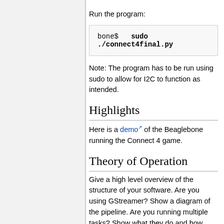Run the program:
bone$  sudo ./connect4final.py
Note: The program has to be run using sudo to allow for I2C to function as intended.
Highlights
Here is a demo of the Beaglebone running the Connect 4 game.
Theory of Operation
Give a high level overview of the structure of your software. Are you using GStreamer? Show a diagram of the pipeline. Are you running multiple tasks? Show what they do and how they